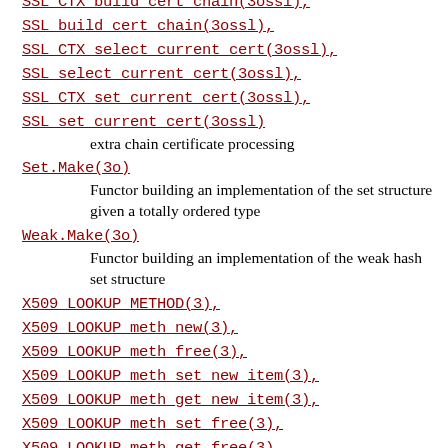SSL_CTX_build_cert_chain(3ossl),
SSL_build_cert_chain(3ossl),
SSL_CTX_select_current_cert(3ossl),
SSL_select_current_cert(3ossl),
SSL_CTX_set_current_cert(3ossl),
SSL_set_current_cert(3ossl)
extra chain certificate processing
Set.Make(3o)
Functor building an implementation of the set structure given a totally ordered type
Weak.Make(3o)
Functor building an implementation of the weak hash set structure
X509_LOOKUP_METHOD(3),
X509_LOOKUP_meth_new(3),
X509_LOOKUP_meth_free(3),
X509_LOOKUP_meth_set_new_item(3),
X509_LOOKUP_meth_get_new_item(3),
X509_LOOKUP_meth_set_free(3),
X509_LOOKUP_meth_get_free(3),
X509_LOOKUP_meth_set_init(3),
X509_LOOKUP_meth_get_init(3),
X509_LOOKUP_meth_set_shutdown(3),
X509_LOOKUP_meth_get_shutdown(3),
X509_LOOKUP_ctrl_fn(3),